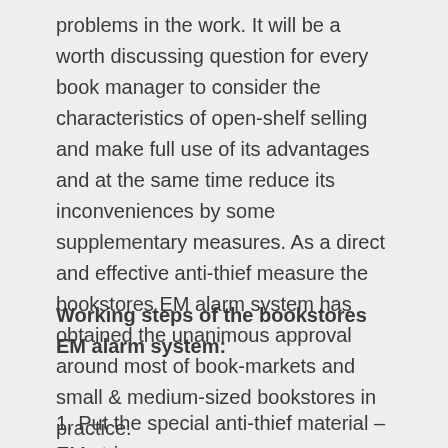problems in the work. It will be a worth discussing question for every book manager to consider the characteristics of open-shelf selling and make full use of its advantages and at the same time reduce its inconveniences by some supplementary measures. As a direct and effective anti-thief measure the bookstores EM alarm system has obtained the unanimous approval around most of book-markets and small & medium-sized bookstores in practice.
Working steps of the bookstores EM alarm system:
1. Put the special anti-thief material – EM strips